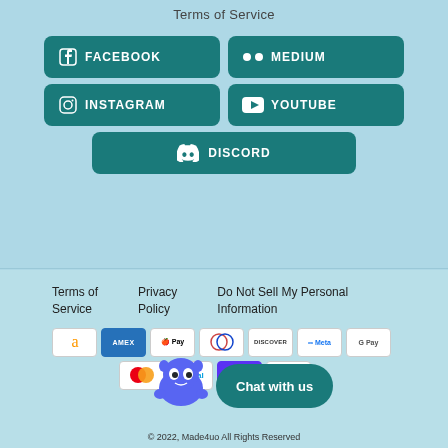Terms of Service
[Figure (infographic): Social media buttons: Facebook, Medium, Instagram, YouTube, Discord — teal rounded rectangles with white icons and text]
Terms of Service   Privacy Policy   Do Not Sell My Personal Information
[Figure (infographic): Payment method icons: Amazon, Amex, Apple Pay, Diners Club, Discover, Meta, Google Pay, Mastercard, PayPal, Shop Pay, Venmo]
[Figure (illustration): Discord mascot (Clyde) with Chat with us button]
© 2022, Made4uo All Rights Reserved